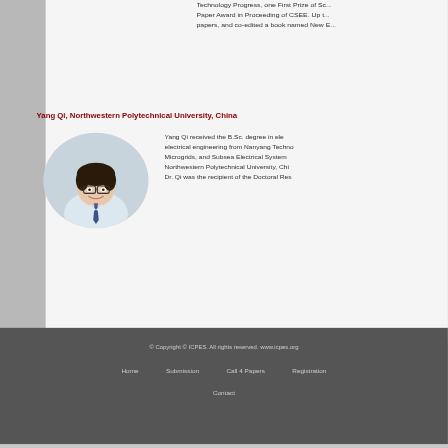Technology Progress, one First Prize of Sc... Paper Award in Proceeding of CSEE. Up ... papers, and co-edited a book named New E...
Yang Qi, Northwestern Polytechnical University, China
[Figure (photo): Portrait photo of Yang Qi, a young man wearing glasses and a suit with tie, circular crop]
Yang Qi received the B.Sc. degree in ele... electrical engineering from Nanyang Techno... Microgrids, and Subsea Electrical System... Northwestern Polytechnical University, Chi... Dr. Qi was the recipient of the Doctoral Res...
© Copyright © ICPES. All rights reserved. www.icpes.org
Home    Submission    Call 4 Papers    Registration
Contact